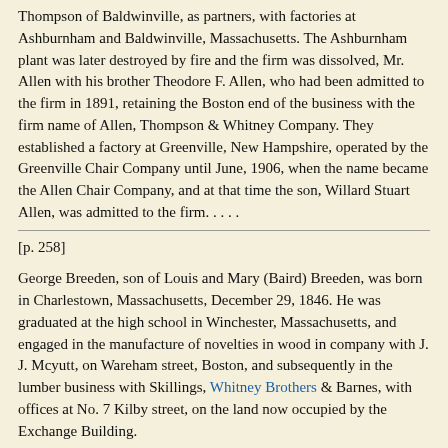Thompson of Baldwinville, as partners, with factories at Ashburnham and Baldwinville, Massachusetts. The Ashburnham plant was later destroyed by fire and the firm was dissolved, Mr. Allen with his brother Theodore F. Allen, who had been admitted to the firm in 1891, retaining the Boston end of the business with the firm name of Allen, Thompson & Whitney Company. They established a factory at Greenville, New Hampshire, operated by the Greenville Chair Company until June, 1906, when the name became the Allen Chair Company, and at that time the son, Willard Stuart Allen, was admitted to the firm. . . . .
[p. 258]
George Breeden, son of Louis and Mary (Baird) Breeden, was born in Charlestown, Massachusetts, December 29, 1846. He was graduated at the high school in Winchester, Massachusetts, and engaged in the manufacture of novelties in wood in company with J. J. Mcyutt, on Wareham street, Boston, and subsequently in the lumber business with Skillings, Whitney Brothers & Barnes, with offices at No. 7 Kilby street, on the land now occupied by the Exchange Building.
[p. 264]
William Haskins settled in Plymouth in 1633, and was admitted a freeman in 1634. He married, November 2, 1636, Sarah Cushman, and (second) December 21, 1638, Ann Hynes (or Hinds). . . . . Children: William, born about 1637, mentioned below. Son, born November 30, 1647. Samuel,